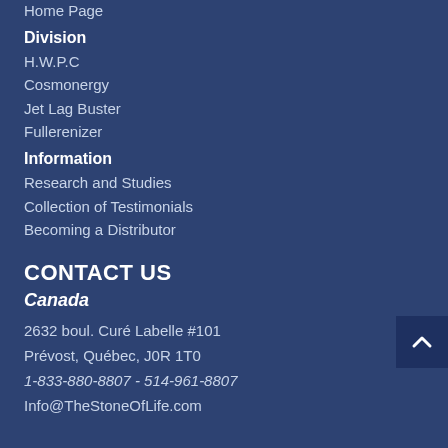Home Page
Division
H.W.P.C
Cosmonergy
Jet Lag Buster
Fullerenizer
Information
Research and Studies
Collection of Testimonials
Becoming a Distributor
CONTACT US
Canada
2632 boul. Curé Labelle #101
Prévost, Québec, J0R 1T0
1-833-880-8807 - 514-961-8807
Info@TheStoneOfLife.com